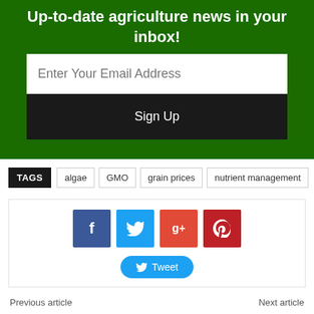Up-to-date agriculture news in your inbox!
Enter Your Email Address
Sign Up
TAGS  algae  GMO  grain prices  nutrient management
[Figure (other): Social sharing buttons: Facebook (f), Twitter (bird), Google+ (g+), Pinterest (p), and a Tweet button]
Previous article    Next article